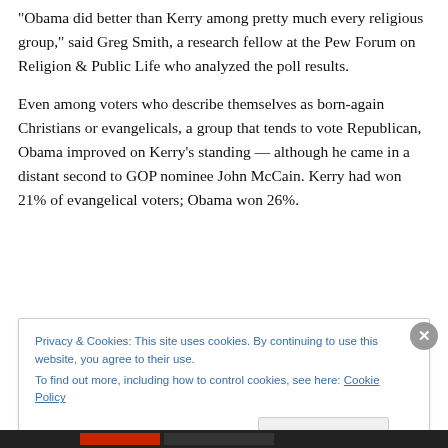“Obama did better than Kerry among pretty much every religious group,” said Greg Smith, a research fellow at the Pew Forum on Religion & Public Life who analyzed the poll results.
Even among voters who describe themselves as born-again Christians or evangelicals, a group that tends to vote Republican, Obama improved on Kerry’s standing — although he came in a distant second to GOP nominee John McCain. Kerry had won 21% of evangelical voters; Obama won 26%.
Privacy & Cookies: This site uses cookies. By continuing to use this website, you agree to their use.
To find out more, including how to control cookies, see here: Cookie Policy
Close and accept